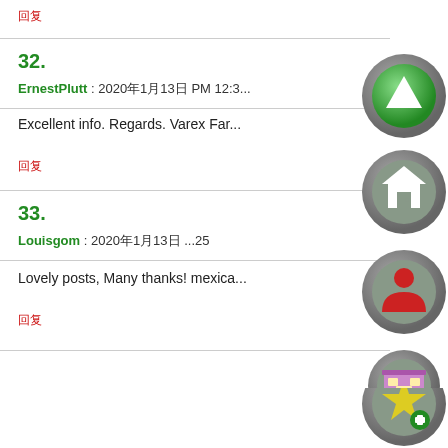回复
32.
ErnestPlutt : 2020年1月13日 PM 12:3...
Excellent info. Regards. Varex Far...
回复
33.
Louisgom : 2020年1月13日 ...25
Lovely posts, Many thanks! mexica...
回复
[Figure (illustration): Green circle icon with up triangle arrow]
[Figure (illustration): Gray circle icon with house symbol]
[Figure (illustration): Gray circle icon with red person/user silhouette]
[Figure (illustration): Gray circle icon with purple/pink shop/store building]
[Figure (illustration): Gray circle icon with yellow star and plus sign]